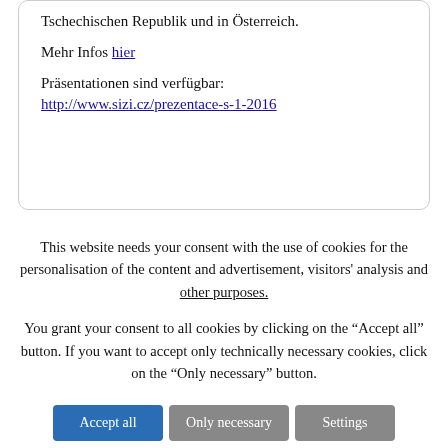Tschechischen Republik und in Österreich.
Mehr Infos hier
Präsentationen sind verfügbar: http://www.sizi.cz/prezentace-s-1-2016
This website needs your consent with the use of cookies for the personalisation of the content and advertisement, visitors' analysis and other purposes.
You grant your consent to all cookies by clicking on the "Accept all" button. If you want to accept only technically necessary cookies, click on the "Only necessary" button.